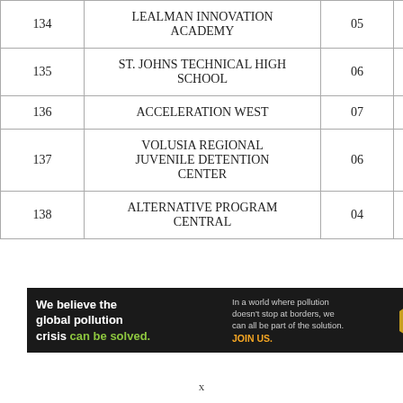| 134 | LEALMAN INNOVATION ACADEMY | 05 | 1 |
| 135 | ST. JOHNS TECHNICAL HIGH SCHOOL | 06 | 1 |
| 136 | ACCELERATION WEST | 07 | 1 |
| 137 | VOLUSIA REGIONAL JUVENILE DETENTION CENTER | 06 | 1 |
| 138 | ALTERNATIVE PROGRAM CENTRAL | 04 | 1 |
[Figure (other): Pure Earth advertisement banner. Left: 'We believe the global pollution crisis can be solved.' Middle: 'In a world where pollution doesn't stop at borders, we can all be part of the solution. JOIN US.' Right: Pure Earth diamond logo and text 'PURE EARTH'.]
x